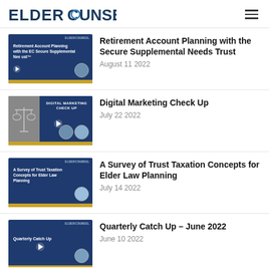ELDERCOUNSEL
[Figure (screenshot): Thumbnail for Retirement Account Planning with the EC Secure Supplemental Needs Trust webinar]
Retirement Account Planning with the Secure Supplemental Needs Trust
August 11 2022
[Figure (screenshot): Thumbnail for Digital Marketing Check Up webinar]
Digital Marketing Check Up
July 22 2022
[Figure (screenshot): Thumbnail for A Survey of Trust Taxation Concepts for Elder Law Planning webinar]
A Survey of Trust Taxation Concepts for Elder Law Planning
July 14 2022
[Figure (screenshot): Thumbnail for Quarterly Catch Up – June 2022 webinar]
Quarterly Catch Up – June 2022
June 10 2022